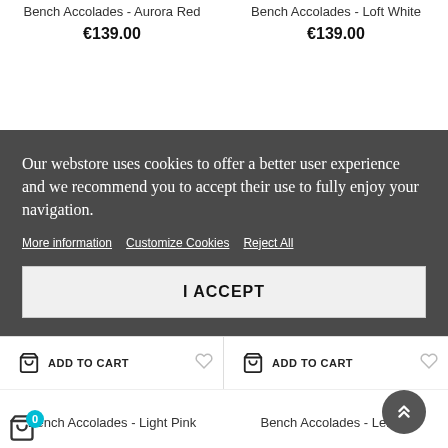Bench Accolades - Aurora Red
€139.00
Bench Accolades - Loft White
€139.00
Our webstore uses cookies to offer a better user experience and we recommend you to accept their use to fully enjoy your navigation.
More information   Customize Cookies   Reject All
I ACCEPT
ADD TO CART
ADD TO CART
Bench Accolades - Light Pink
Bench Accolades - Lemon